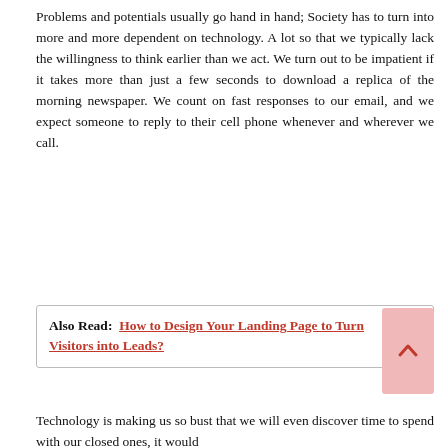Problems and potentials usually go hand in hand; Society has to turn into more and more dependent on technology. A lot so that we typically lack the willingness to think earlier than we act. We turn out to be impatient if it takes more than just a few seconds to download a replica of the morning newspaper. We count on fast responses to our email, and we expect someone to reply to their cell phone whenever and wherever we call.
Also Read:  How to Design Your Landing Page to Turn Visitors into Leads?
Technology is making us so bust that we will even discover time to spend with our closed ones, it would